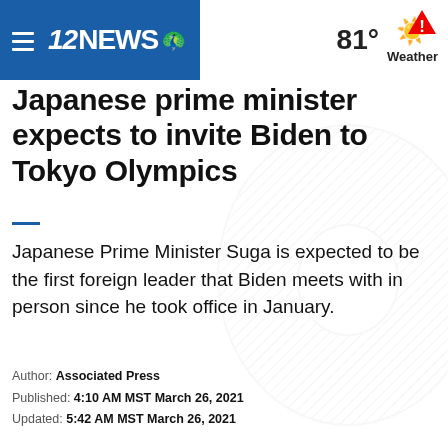12NEWS | 81° Weather
Japanese prime minister expects to invite Biden to Tokyo Olympics
Japanese Prime Minister Suga is expected to be the first foreign leader that Biden meets with in person since he took office in January.
Author: Associated Press
Published: 4:10 AM MST March 26, 2021
Updated: 5:42 AM MST March 26, 2021